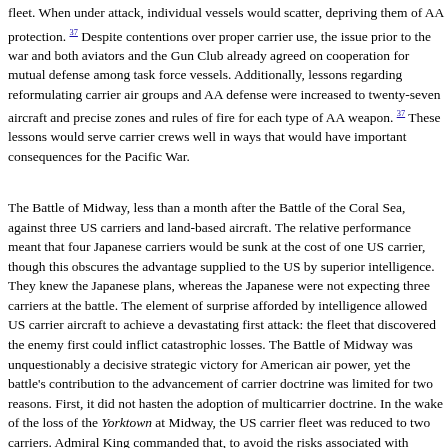fleet. When under attack, individual vessels would scatter, depriving them of AA protection. [37] Despite contentions over proper carrier use, the issue prior to the war and both aviators and the Gun Club already agreed on cooperation for mutual defense among task force vessels. Additionally, lessons regarding reformulating carrier air groups and AA defense were increased to twenty-seven aircraft and precise zones and rules of fire for each type of AA weapon. [37] These lessons would serve carrier crews well in ways that would have important consequences for the Pacific War.
The Battle of Midway, less than a month after the Battle of the Coral Sea, pitted four Japanese carriers against three US carriers and land-based aircraft. The relative performance meant that four Japanese carriers would be sunk at the cost of one US carrier, though this obscures the advantage supplied to the US by superior intelligence. They knew the Japanese plans, whereas the Japanese were not expecting three carriers at the battle. The element of surprise afforded by intelligence allowed US carrier aircraft to achieve a devastating first attack: the fleet that discovered the enemy first could inflict catastrophic losses. The Battle of Midway was unquestionably a decisive strategic victory for American air power, yet the battle's contribution to the advancement of carrier doctrine was limited for two reasons. First, it did not hasten the adoption of multicarrier doctrine. In the wake of the loss of the Yorktown at Midway, the US carrier fleet was reduced to two carriers. Admiral King commanded that, to avoid the risks associated with multicarrier formations, in a multicarrier formation until more escort vessels were available, despite the Battle of Coral Sea where aviators had proof that carriers should be combined. Carrier aviators did criticize in Admiral Fletcher's command of what was universally final outcome was the most important, but would take time to